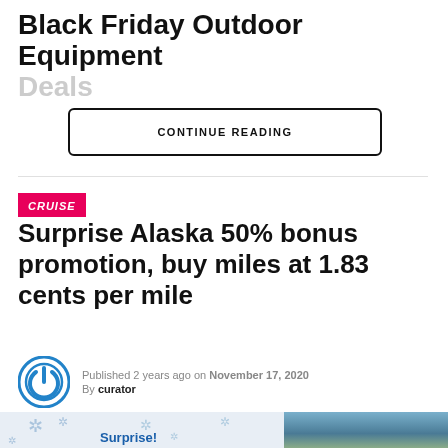Black Friday Outdoor Equipment Deals
CONTINUE READING
CRUISE
Surprise Alaska 50% bonus promotion, buy miles at 1.83 cents per mile
Published 2 years ago on November 17, 2020
By curator
[Figure (photo): Bottom strip showing a winter/Alaska themed image with snowflakes on the left and a mountain lake scene on the right, with text 'Surprise!']